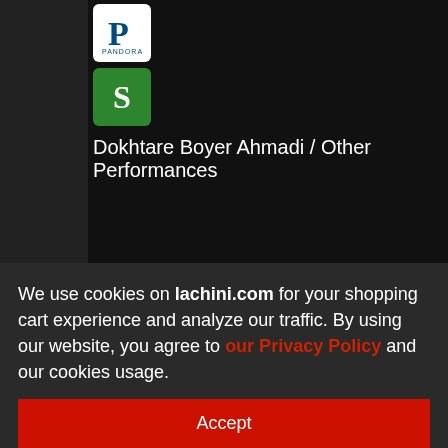[Figure (logo): Pandora app icon - white background with blue P letter]
[Figure (logo): Spotify-style app icon - green background with white S letter]
Dokhtare Boyer Ahmadi / Other Performances
Dokhtare Boyer Ahmadi / Scent of Yesterday 3 With Sheet Music
Dokhtare Boyer Ahmadi / Gol Afshan 2
Dokhtare Boyer Ahmadi / Diar 2
Dokhtare Boyer Ahmadi / Piano Sheet Music
We use cookies on lachini.com for your shopping cart experience and analyze our traffic. By using our website, you agree to our Privacy Policy and our cookies usage.
Accept